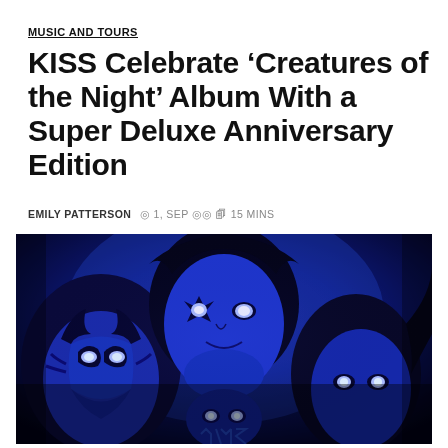MUSIC AND TOURS
KISS Celebrate ‘Creatures of the Night’ Album With a Super Deluxe Anniversary Edition
EMILY PATTERSON ◎ 1, SEP ◎◎ 🗏 15 MINS
[Figure (photo): KISS 'Creatures of the Night' album artwork showing four illustrated band members in blue and black face paint against a dark blue/purple background]